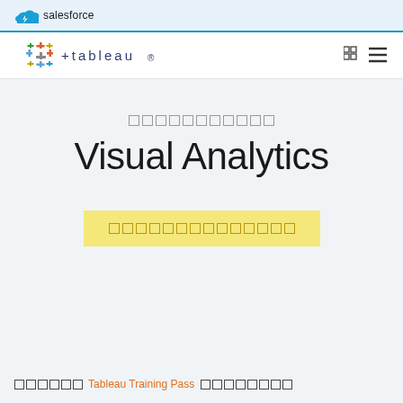salesforce
[Figure (logo): Tableau logo with colorful plus-cross icon and stylized 'tableau' wordmark]
□□□□□□□□□□□
Visual Analytics
□□□□□□□□□□□□□□
□□□□□□ Tableau Training Pass □□□□□□□□